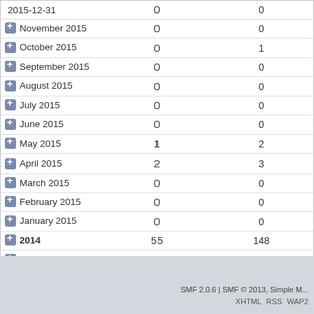|  |  |  |
| --- | --- | --- |
| 2015-12-31 | 0 | 0 |
| November 2015 | 0 | 0 |
| October 2015 | 0 | 1 |
| September 2015 | 0 | 0 |
| August 2015 | 0 | 0 |
| July 2015 | 0 | 0 |
| June 2015 | 0 | 0 |
| May 2015 | 1 | 2 |
| April 2015 | 2 | 3 |
| March 2015 | 0 | 0 |
| February 2015 | 0 | 0 |
| January 2015 | 0 | 0 |
| 2014 | 55 | 148 |
| 2013 | 212 | 985 |
SMF 2.0.6 | SMF © 2013, Simple M... XHTML RSS WAP2